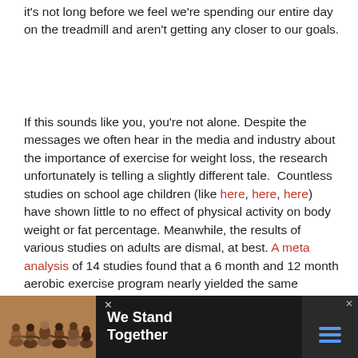it's not long before we feel we're spending our entire day on the treadmill and aren't getting any closer to our goals.
If this sounds like you, you're not alone. Despite the messages we often hear in the media and industry about the importance of exercise for weight loss, the research unfortunately is telling a slightly different tale.  Countless studies on school age children (like here, here, here) have shown little to no effect of physical activity on body weight or fat percentage. Meanwhile, the results of various studies on adults are dismal, at best. A meta analysis of 14 studies found that a 6 month and 12 month aerobic exercise program nearly yielded the same modest results (1.6-1.7 kg loss), suggesting that you may see a bit of progress in
[Figure (photo): Advertisement banner at bottom of page showing people standing together with arms around each other, text reading 'We Stand Together', dark background with close buttons]